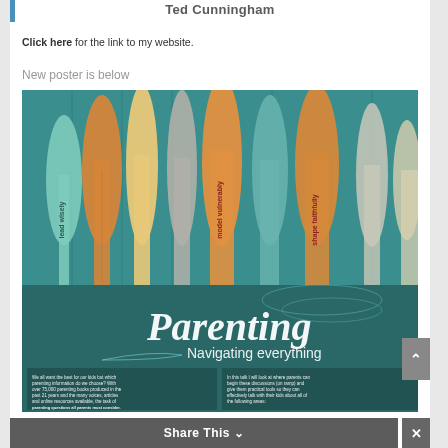Ted Cunningham
Click here for the link to my website.
New poster is below
[Figure (illustration): Parenting: Navigating everything poster featuring colorful wooden paddles/oars arranged vertically against a teal wooden background with text 'lead wisely', 'model vulnerably', 'shape faithfully' on the paddles. Large script text reads 'Parenting' with subtitle 'Navigating everything'. Below are two columns of text about parenting information and numbered list items.]